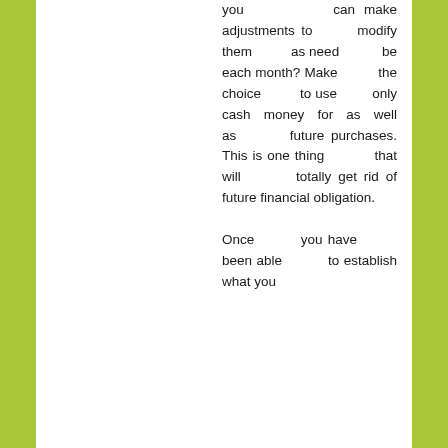you can make adjustments to modify them as need be each month? Make the choice to use only cash money for as well as future purchases. This is one thing that will totally get rid of future financial obligation.

Once you have been able to establish what you